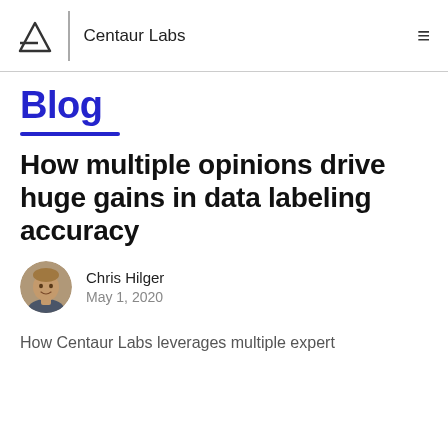Centaur Labs
Blog
How multiple opinions drive huge gains in data labeling accuracy
Chris Hilger
May 1, 2020
How Centaur Labs leverages multiple expert